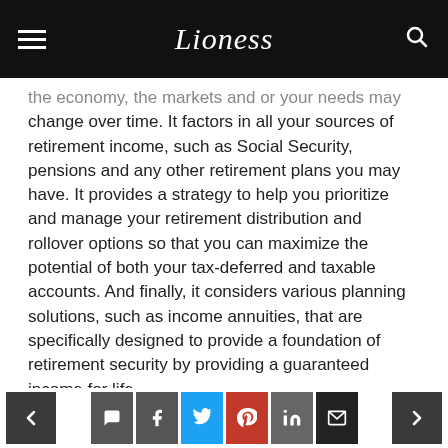Lioness
the economy, the markets and or your needs may change over time. It factors in all your sources of retirement income, such as Social Security, pensions and any other retirement plans you may have. It provides a strategy to help you prioritize and manage your retirement distribution and rollover options so that you can maximize the potential of both your tax-deferred and taxable accounts. And finally, it considers various planning solutions, such as income annuities, that are specifically designed to provide a foundation of retirement security by providing a guaranteed income for life.
Step 3: Plan for Future Generations
< comment facebook twitter pinterest linkedin email >